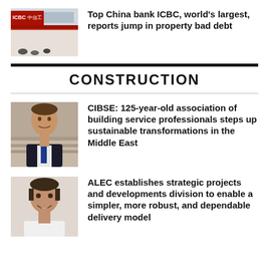[Figure (photo): ICBC bank storefront with red signage and Chinese characters]
Top China bank ICBC, world's largest, reports jump in property bad debt
CONSTRUCTION
[Figure (photo): Portrait of a man in a suit at a building services event]
CIBSE: 125-year-old association of building service professionals steps up sustainable transformations in the Middle East
[Figure (photo): Portrait of a man in a white shirt smiling]
ALEC establishes strategic projects and developments division to enable a simpler, more robust, and dependable delivery model